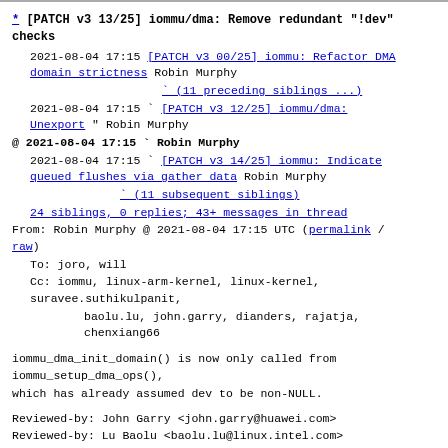* [PATCH v3 13/25] iommu/dma: Remove redundant "!dev" checks
2021-08-04 17:15 [PATCH v3 00/25] iommu: Refactor DMA domain strictness Robin Murphy
`(11 preceding siblings ...)
2021-08-04 17:15 ` [PATCH v3 12/25] iommu/dma: Unexport " Robin Murphy
@ 2021-08-04 17:15 ` Robin Murphy
2021-08-04 17:15 ` [PATCH v3 14/25] iommu: Indicate queued flushes via gather data Robin Murphy
`(11 subsequent siblings)
24 siblings, 0 replies; 43+ messages in thread
From: Robin Murphy @ 2021-08-04 17:15 UTC (permalink / raw)
To: joro, will
Cc: iommu, linux-arm-kernel, linux-kernel, suravee.suthikulpanit,
        baolu.lu, john.garry, dianders, rajatja, chenxiang66

iommu_dma_init_domain() is now only called from iommu_setup_dma_ops(),
which has already assumed dev to be non-NULL.

Reviewed-by: John Garry <john.garry@huawei.com>
Reviewed-by: Lu Baolu <baolu.lu@linux.intel.com>
Signed-off-by: Robin Murphy <robin.murphy@arm.com>
---